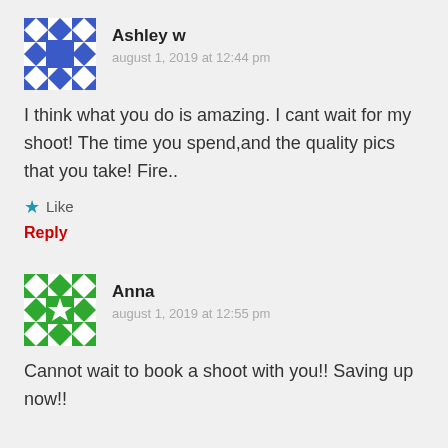[Figure (illustration): Blue geometric quilt-pattern avatar for user Ashley w]
Ashley w
august 1, 2019 at 12:44 pm
I think what you do is amazing. I cant wait for my shoot! The time you spend,and the quality pics that you take! Fire..
★ Like
Reply
[Figure (illustration): Green geometric snowflake/star quilt-pattern avatar for user Anna]
Anna
august 1, 2019 at 12:55 pm
Cannot wait to book a shoot with you!! Saving up now!!